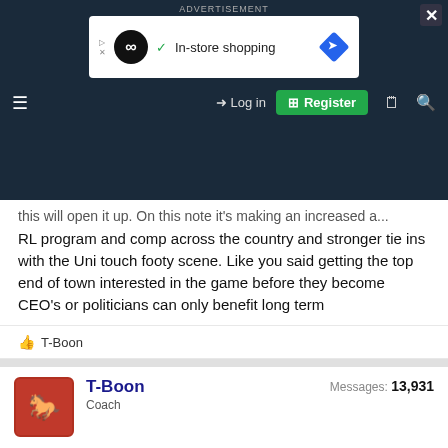[Figure (screenshot): Advertisement banner showing an infinity loop icon with 'In-store shopping' text and a blue navigation diamond icon on white background]
Log in | Register
RL program and comp across the country and stronger tie ins with the Uni touch footy scene. Like you said getting the top end of town interested in the game before they become CEO's or politicians can only benefit long term
👍 T-Boon
T-Boon
Coach
Messages: 13,931
Jan 25, 2022  #19,770